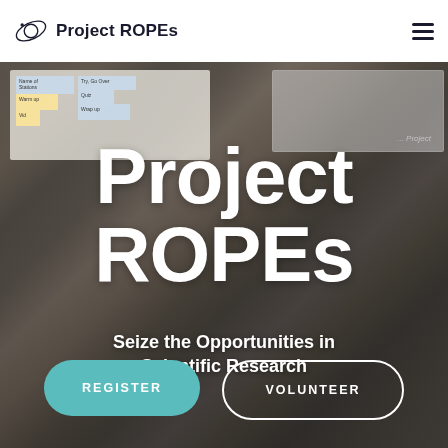Project ROPEs
[Figure (screenshot): Classroom scene with students sitting at desks facing a whiteboard and projector screen. Whiteboard has sticky notes with text like 'Name of Stations', 'Warm up', 'Try, Go Over', 'Quiz', 'Wrap up'. Projector screen shows text '...Project'. Two students visible from behind — one in navy blue jacket, one in green hoodie. Science/lab equipment on tables including colorful objects and a 3D printer.]
Project ROPEs
Seize the Opportunities in Scientific Research
REGISTER
VOLUNTEER